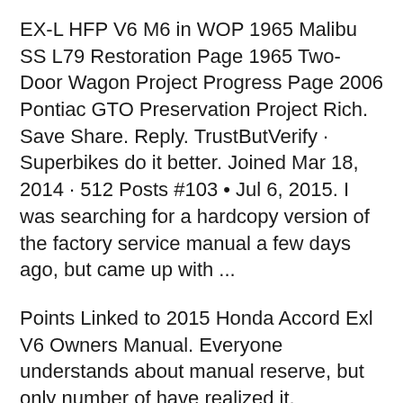EX-L HFP V6 M6 in WOP 1965 Malibu SS L79 Restoration Page 1965 Two-Door Wagon Project Progress Page 2006 Pontiac GTO Preservation Project Rich. Save Share. Reply. TrustButVerify · Superbikes do it better. Joined Mar 18, 2014 · 512 Posts #103 • Jul 6, 2015. I was searching for a hardcopy version of the factory service manual a few days ago, but came up with ...
Points Linked to 2015 Honda Accord Exl V6 Owners Manual. Everyone understands about manual reserve, but only number of have realized it. Generally speaking, anything you have in reserve which contains details about item is manual or guideline.